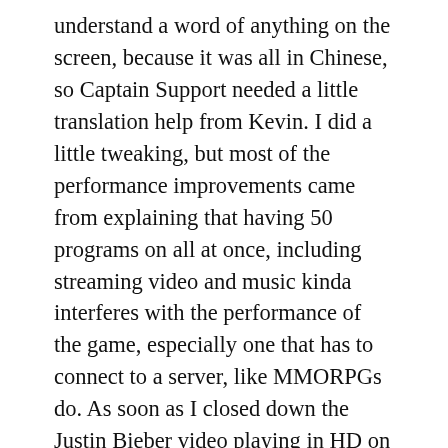understand a word of anything on the screen, because it was all in Chinese, so Captain Support needed a little translation help from Kevin. I did a little tweaking, but most of the performance improvements came from explaining that having 50 programs on all at once, including streaming video and music kinda interferes with the performance of the game, especially one that has to connect to a server, like MMORPGs do. As soon as I closed down the Justin Bieber video playing in HD on YouTube things got a lot faster and sounded a lot better. 🙂
From there we went out to meet a couple of the guys Alan works with. Both were Ausies, but